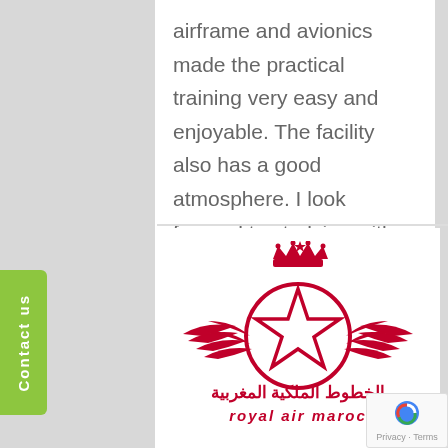airframe and avionics made the practical training very easy and enjoyable. The facility also has a good atmosphere. I look forward to studying with […]
Read more
[Figure (logo): Royal Air Maroc logo: a red winged emblem with a pentagram star inside a circle topped with a Moroccan crown, with Arabic text 'الخطوط الملكية المغربية' and English text 'royal air maroc' below.]
Contact us